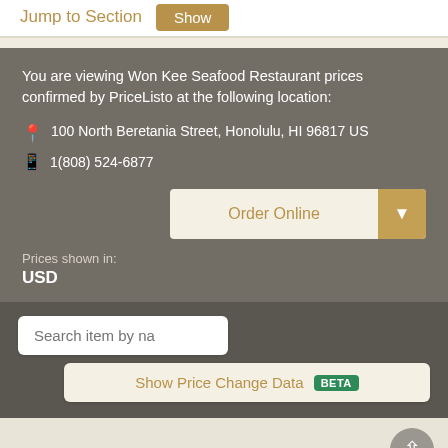Jump to Section  Show
You are viewing Won Kee Seafood Restaurant prices confirmed by PriceListo at the following location:
📍 100 North Beretania Street, Honolulu, HI 96817 US
📱 1(808) 524-6877
Order Online ▼
Prices shown in:
USD
Search item by na
Show Price Change Data BETA